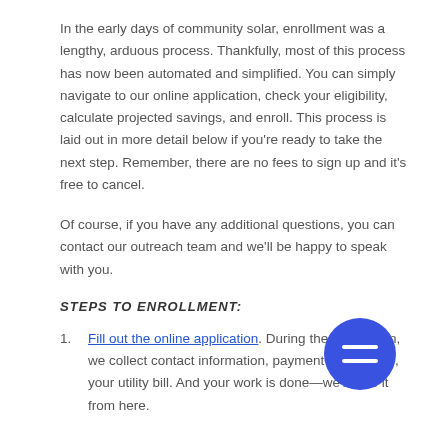In the early days of community solar, enrollment was a lengthy, arduous process. Thankfully, most of this process has now been automated and simplified. You can simply navigate to our online application, check your eligibility, calculate projected savings, and enroll. This process is laid out in more detail below if you're ready to take the next step. Remember, there are no fees to sign up and it's free to cancel.
Of course, if you have any additional questions, you can contact our outreach team and we'll be happy to speak with you.
STEPS TO ENROLLMENT:
Fill out the online application. During the application, we collect contact information, payment information, your utility bill. And your work is done—we'll take it from here.
[Figure (other): Blue circular button with two horizontal lines (hamburger/menu icon) overlaid on the bottom-right of the page content]